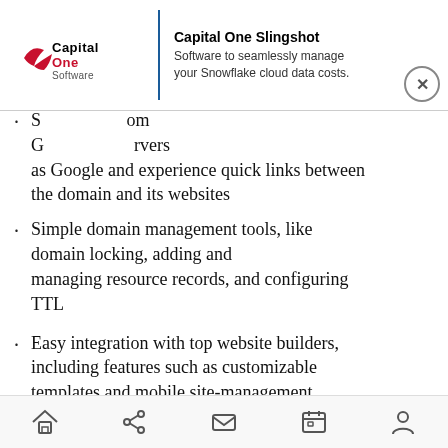[Figure (screenshot): Capital One Slingshot advertisement banner with logo and text: 'Software to seamlessly manage your Snowflake cloud data costs.' with a close button.]
S... from G... servers as Google and experience quick links between the domain and its websites
Simple domain management tools, like domain locking, adding and managing resource records, and configuring TTL
Easy integration with top website builders, including features such as customizable templates and mobile site-management
New domain endings like .photography, with an increase in these kinds of domain endings coming in the future
Phone and email support whenever you need it, Monday – Friday, 8...
[Figure (screenshot): Mobile browser bottom navigation bar with home, share, mail, calendar, and person icons.]